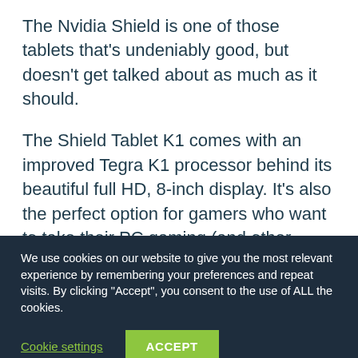The Nvidia Shield is one of those tablets that's undeniably good, but doesn't get talked about as much as it should.
The Shield Tablet K1 comes with an improved Tegra K1 processor behind its beautiful full HD, 8-inch display. It's also the perfect option for gamers who want to take their PC gaming (and other media streaming) on-the-go.
We use cookies on our website to give you the most relevant experience by remembering your preferences and repeat visits. By clicking "Accept", you consent to the use of ALL the cookies.
Cookie settings
ACCEPT